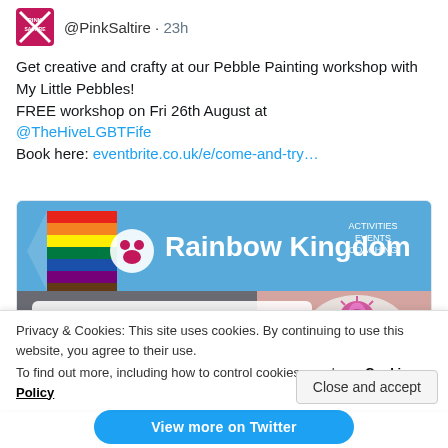@PinkSaltire · 23h
Get creative and crafty at our Pebble Painting workshop with My Little Pebbles!
FREE workshop on Fri 26th August at @TheHiveLGBTFife
Book here: eventbrite.co.uk/e/come-and-try…
[Figure (photo): Rainbow Kingdom promotional banner showing 'Pebble Painting Workshop, The Hive LGBT+ Centre, Kirkcaldy, Friday 26th August, 2.30pm' with a painted pebble featuring a thistle flower on the right side.]
Privacy & Cookies: This site uses cookies. By continuing to use this website, you agree to their use.
To find out more, including how to control cookies, see here: Cookie Policy
Close and accept
View more on Twitter